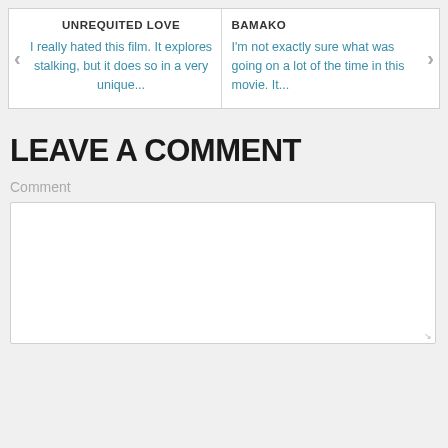UNREQUITED LOVE — I really hated this film. It explores stalking, but it does so in a very unique...
BAMAKO — I'm not exactly sure what was going on a lot of the time in this movie. It...
LEAVE A COMMENT
Comment